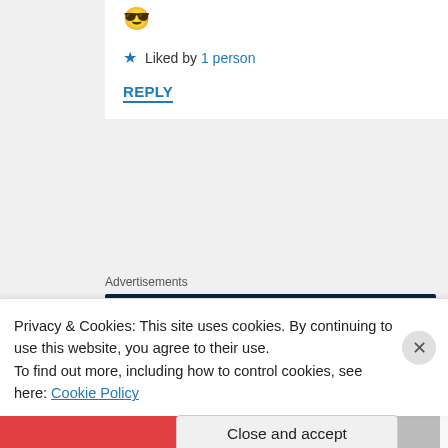[Figure (illustration): Emoji face with star eyes (😎 style star-eyes emoji)]
★ Liked by 1 person
REPLY
Advertisements
[Figure (screenshot): Dark blue advertisement banner with text 'Create surveys, polls,' and a circular element on the right]
[Figure (illustration): Circular avatar photo of liliananbookish user]
liliananbookish says:
Privacy & Cookies: This site uses cookies. By continuing to use this website, you agree to their use.
To find out more, including how to control cookies, see here: Cookie Policy
Close and accept